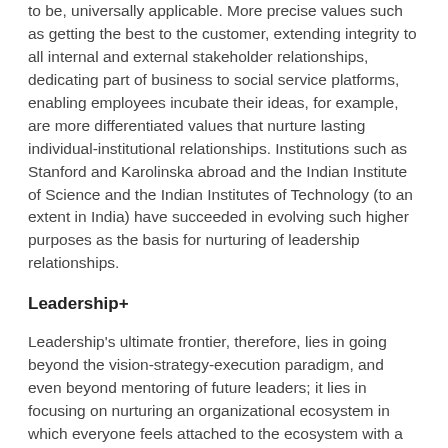to be, universally applicable. More precise values such as getting the best to the customer, extending integrity to all internal and external stakeholder relationships, dedicating part of business to social service platforms, enabling employees incubate their ideas, for example, are more differentiated values that nurture lasting individual-institutional relationships. Institutions such as Stanford and Karolinska abroad and the Indian Institute of Science and the Indian Institutes of Technology (to an extent in India) have succeeded in evolving such higher purposes as the basis for nurturing of leadership relationships.
Leadership+
Leadership's ultimate frontier, therefore, lies in going beyond the vision-strategy-execution paradigm, and even beyond mentoring of future leaders; it lies in focusing on nurturing an organizational ecosystem in which everyone feels attached to the ecosystem with a sense of pride, ownership and oneness in a culture of competency, performance and mutual relationship. This is a unique interconnected paradigm. An individual cannot have the pride of existence in an organization unless he or she has a sense of self-worth, which in turn cannot come about without competency, which again is of little benefit if it is not translated into